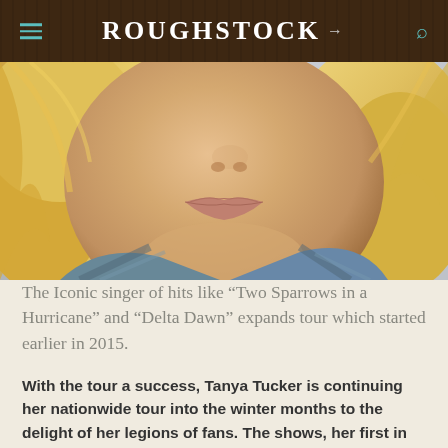ROUGHSTOCK
[Figure (photo): Close-up portrait of a blonde woman, cropped from nose to chin, wearing a plaid/denim shirt against a light background]
The Iconic singer of hits like “Two Sparrows in a Hurricane” and “Delta Dawn” expands tour which started earlier in 2015.
With the tour a success, Tanya Tucker is continuing her nationwide tour into the winter months to the delight of her legions of fans. The shows, her first in years, have found her showcasing her instantly recognizable voice and song